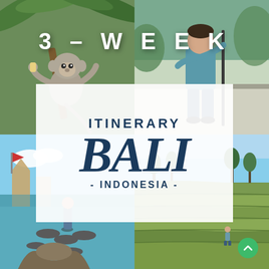[Figure (photo): Collage of four Bali travel photos: top-left monkey in palm trees, top-right person with walking stick, bottom-left woman at water temple stepping stones, bottom-right woman in rice terraces]
3-WEEK ITINERARY BALI - INDONESIA -